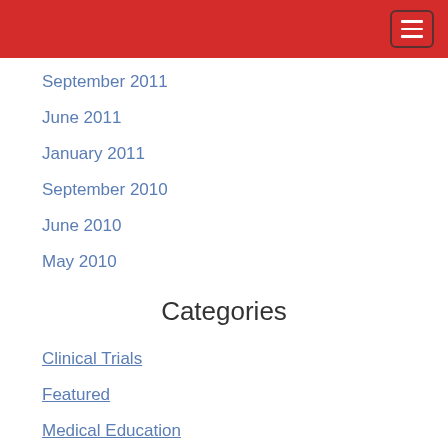September 2011
June 2011
January 2011
September 2010
June 2010
May 2010
Categories
Clinical Trials
Featured
Medical Education